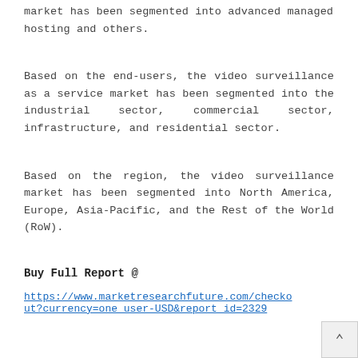market has been segmented into advanced managed hosting and others.
Based on the end-users, the video surveillance as a service market has been segmented into the industrial sector, commercial sector, infrastructure, and residential sector.
Based on the region, the video surveillance market has been segmented into North America, Europe, Asia-Pacific, and the Rest of the World (RoW).
Buy Full Report @
https://www.marketresearchfuture.com/checkout?currency=one_user-USD&report_id=2329